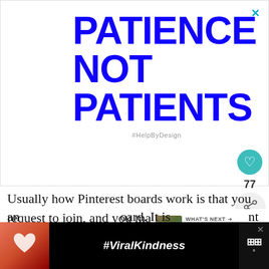[Figure (illustration): White background image with bold dark blue text reading 'PATIENCE NOT PATIENTS' in large uppercase letters, with hashtag #HelpByDesign below in light gray.]
Usually how Pinterest boards work is that you request to join, and you may share so[me content] per day/week/etc. In return, you must share X
[Figure (photo): Bottom advertisement bar showing hands making a heart shape against a sunset sky, with #ViralKindness text in white italic on black background, and a close X button.]